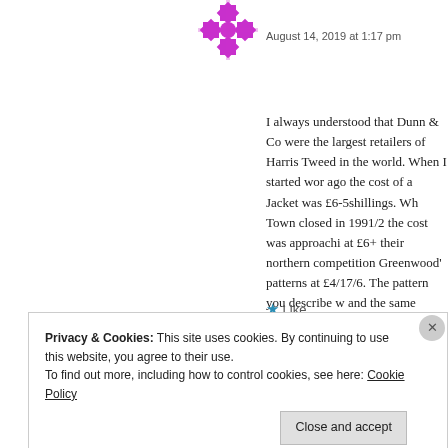[Figure (illustration): Purple geometric snowflake/avatar icon]
August 14, 2019 at 1:17 pm
I always understood that Dunn & Co were the largest retailers of Harris Tweed in the world. When I started working there 60 years ago the cost of a Jacket was £6-5shillings. When the Cape Town closed in 1991/2 the cost was approaching £6+ their northern competition Greenwood's patterns at £4/17/6. The pattern you describe w and the same pattern was used for an overcoat cap at 14/6. Hard to believe that the tweed was
★ Like
Reply
Privacy & Cookies: This site uses cookies. By continuing to use this website, you agree to their use.
To find out more, including how to control cookies, see here: Cookie Policy
Close and accept